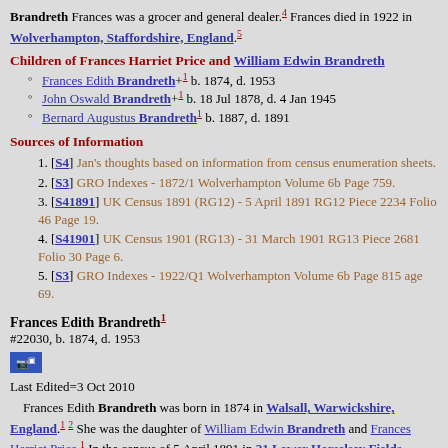Brandreth Frances was a grocer and general dealer.4 Frances died in 1922 in Wolverhampton, Staffordshire, England.5
Children of Frances Harriet Price and William Edwin Brandreth
Frances Edith Brandreth+1 b. 1874, d. 1953
John Oswald Brandreth+1 b. 18 Jul 1878, d. 4 Jan 1945
Bernard Augustus Brandreth1 b. 1887, d. 1891
Sources of Information
[S4] Jan's thoughts based on information from census enumeration sheets.
[S3] GRO Indexes - 1872/1 Wolverhampton Volume 6b Page 759.
[S41891] UK Census 1891 (RG12) - 5 April 1891 RG12 Piece 2234 Folio 46 Page 19.
[S41901] UK Census 1901 (RG13) - 31 March 1901 RG13 Piece 2681 Folio 30 Page 6.
[S3] GRO Indexes - 1922/Q1 Wolverhampton Volume 6b Page 815 age 69.
Frances Edith Brandreth1
#22030, b. 1874, d. 1953
Last Edited=3 Oct 2010
Frances Edith Brandreth was born in 1874 in Walsall, Warwickshire, England.1 2 She was the daughter of William Edwin Brandreth and Frances Harriet Price.1 In the census of 5 April 1891 in 21 Lower Horselsey Fields, Wolverhampton, Staffordshire, England, she was listed as the daughter of